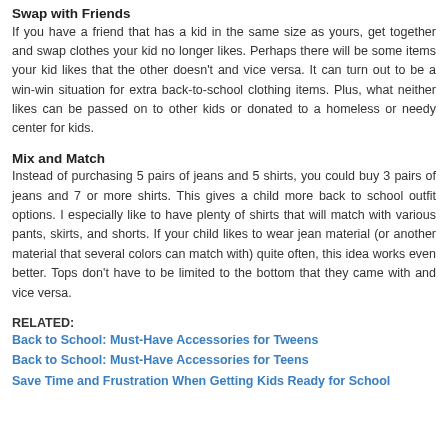Swap with Friends
If you have a friend that has a kid in the same size as yours, get together and swap clothes your kid no longer likes. Perhaps there will be some items your kid likes that the other doesn't and vice versa. It can turn out to be a win-win situation for extra back-to-school clothing items. Plus, what neither likes can be passed on to other kids or donated to a homeless or needy center for kids.
Mix and Match
Instead of purchasing 5 pairs of jeans and 5 shirts, you could buy 3 pairs of jeans and 7 or more shirts. This gives a child more back to school outfit options. I especially like to have plenty of shirts that will match with various pants, skirts, and shorts. If your child likes to wear jean material (or another material that several colors can match with) quite often, this idea works even better. Tops don't have to be limited to the bottom that they came with and vice versa.
RELATED:
Back to School: Must-Have Accessories for Tweens
Back to School: Must-Have Accessories for Teens
Save Time and Frustration When Getting Kids Ready for School